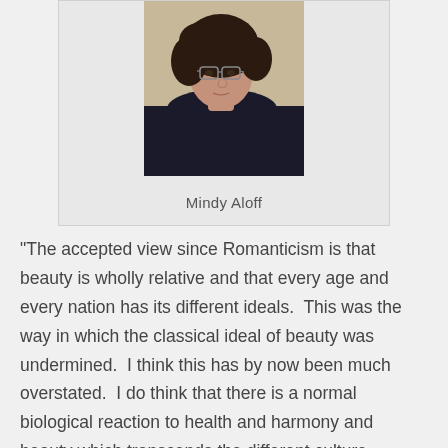[Figure (photo): Portrait photo of Mindy Aloff: a woman with curly dark hair wearing glasses and a dark top, photographed in profile/three-quarter view against a light background.]
Mindy Aloff
“The accepted view since Romanticism is that beauty is wholly relative and that every age and every nation has its different ideals.  This was the way in which the classical ideal of beauty was undermined.  I think this has by now been much overstated.  I do think that there is a normal biological reaction to health and harmony and beauty which transcends the different culture modifications… I haven’t